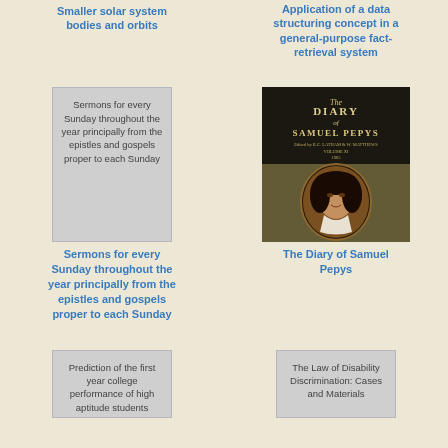Smaller solar system bodies and orbits
Application of a data structuring concept in a general-purpose fact-retrieval system
[Figure (illustration): Book cover placeholder showing text: Sermons for every Sunday throughout the year principally from the epistles and gospels proper to each Sunday]
[Figure (photo): Book cover of The Diary of Samuel Pepys with dark background showing portrait medallion of Samuel Pepys and title text]
Sermons for every Sunday throughout the year principally from the epistles and gospels proper to each Sunday
The Diary of Samuel Pepys
[Figure (illustration): Book cover placeholder showing text: Prediction of the first year college performance of high aptitude students]
[Figure (illustration): Book cover placeholder showing text: The Law of Disability Discrimination: Cases and Materials]